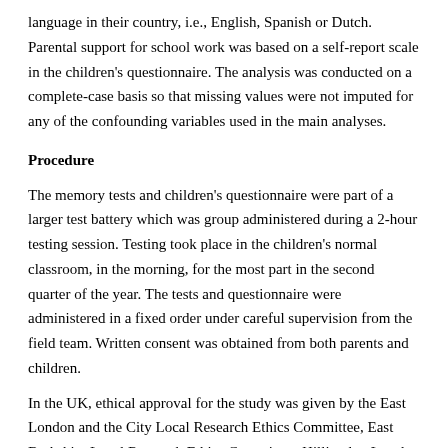language in their country, i.e., English, Spanish or Dutch. Parental support for school work was based on a self-report scale in the children's questionnaire. The analysis was conducted on a complete-case basis so that missing values were not imputed for any of the confounding variables used in the main analyses.
Procedure
The memory tests and children's questionnaire were part of a larger test battery which was group administered during a 2-hour testing session. Testing took place in the children's normal classroom, in the morning, for the most part in the second quarter of the year. The tests and questionnaire were administered in a fixed order under careful supervision from the field team. Written consent was obtained from both parents and children.
In the UK, ethical approval for the study was given by the East London and the City Local Research Ethics Committee, East Berkshire Local Research Ethics Committee, Hillingdon Local Research Ethics Committee and the Hounslow District Research Ethics Committee. In the Netherlands, ethical approval was given by the medical ethics committee of TNO, Leiden. In Spain, ethical approval was given by the CSIC Bioethical Commission, Madrid.